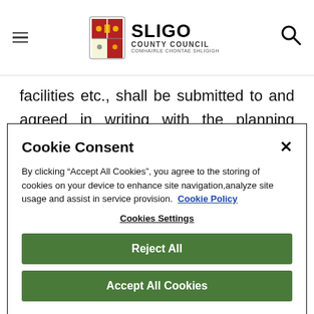Sligo County Council - COMHAIRLE CHONTAE SHLIGIGH
facilities etc., shall be submitted to and agreed in writing with the planning authority. These works shall be fully implemented prior to first occupation of
Cookie Consent
By clicking “Accept All Cookies”, you agree to the storing of cookies on your device to enhance site navigation,analyze site usage and assist in service provision.  Cookie Policy
Cookies Settings
Reject All
Accept All Cookies